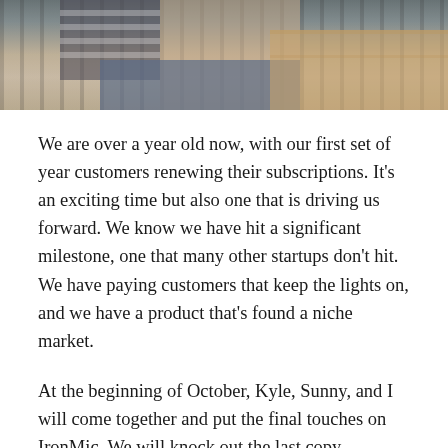[Figure (photo): Partial photo of a person sitting, showing hands resting on lap wearing jeans and a striped top, with a wooden surface visible in background]
We are over a year old now, with our first set of year customers renewing their subscriptions. It's an exciting time but also one that is driving us forward. We know we have hit a significant milestone, one that many other startups don't hit. We have paying customers that keep the lights on, and we have a product that's found a niche market.
At the beginning of October, Kyle, Sunny, and I will come together and put the final touches on IronMic. We will knock out the last copy changes, tweaks to the code, and agree upon the marketing strategy for launch. We are flying to Chicago, where Kyle lives and work. While we are in the city to have fun and hangout, we are focused on using the time to work together on v2 of IronMic.